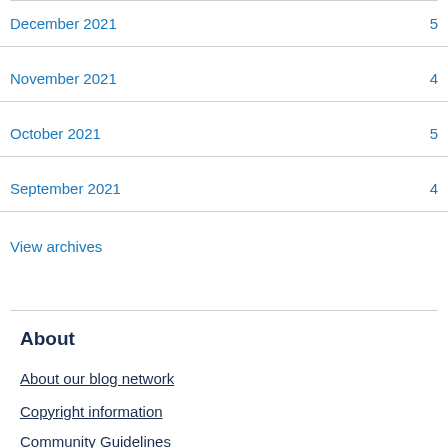December 2021  5
November 2021  4
October 2021  5
September 2021  4
View archives
About
About our blog network
Copyright information
Community Guidelines